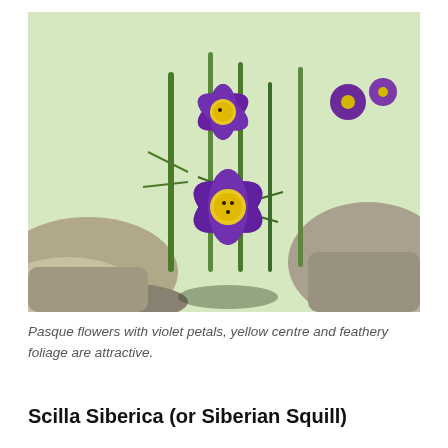[Figure (photo): Close-up photograph of Pasque flowers with violet/purple petals and bright yellow centres, surrounded by feathery green foliage, against a rocky background with more flowers visible in the distance.]
Pasque flowers with violet petals, yellow centre and feathery foliage are attractive.
Scilla Siberica (or Siberian Squill)